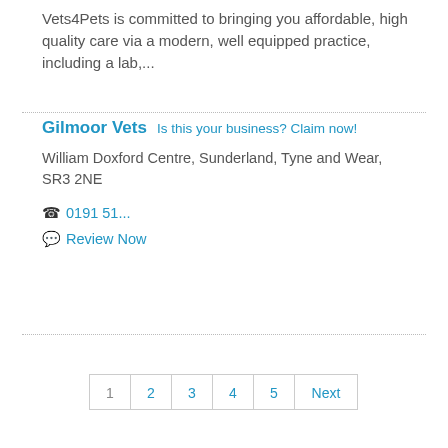Vets4Pets is committed to bringing you affordable, high quality care via a modern, well equipped practice, including a lab,...
Gilmoor Vets   Is this your business? Claim now!
William Doxford Centre, Sunderland, Tyne and Wear, SR3 2NE
☎ 0191 51...
💬 Review Now
1  2  3  4  5  Next